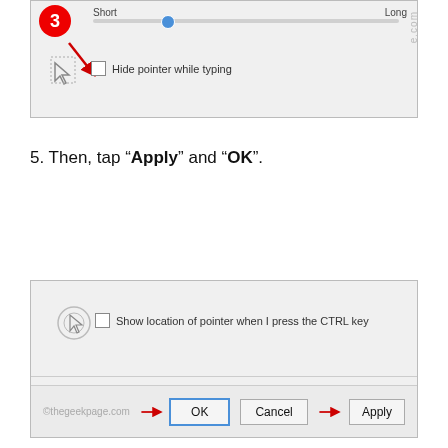[Figure (screenshot): Windows Mouse Properties dialog screenshot showing a pointer speed slider with 'Short' and 'Long' labels, a blue dot slider, and a 'Hide pointer while typing' checkbox. A red circle with number 3 and a red arrow annotation are overlaid.]
5. Then, tap “Apply” and “OK”.
[Figure (screenshot): Windows Mouse Properties dialog bottom section showing 'Show location of pointer when I press the CTRL key' checkbox, and footer with OK, Cancel, Apply buttons. Red arrows point to OK and Apply buttons. Watermark ©thegeekpage.com visible.]